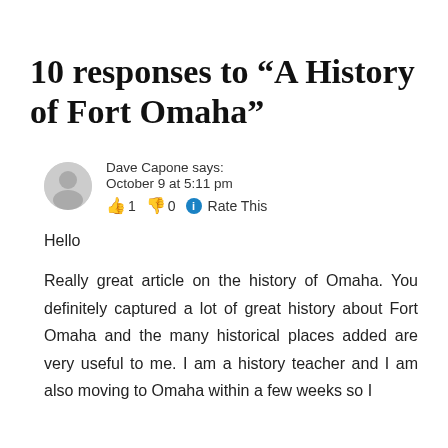10 responses to “A History of Fort Omaha”
Dave Capone says:
October 9 at 5:11 pm
👍 1 👎 0 ℹ Rate This
Hello
Really great article on the history of Omaha. You definitely captured a lot of great history about Fort Omaha and the many historical places added are very useful to me. I am a history teacher and I am also moving to Omaha within a few weeks so I